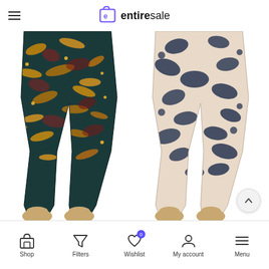entiresale
[Figure (photo): Two mannequin legs wearing patterned leggings side by side. Left pair shows dark teal background with orange, gold and red animal/abstract print pattern. Right pair shows beige/cream background with dark navy blue leopard spot pattern. Mannequin feet visible at bottom of both pairs.]
Shop | Filters | Wishlist 0 | My account | Menu